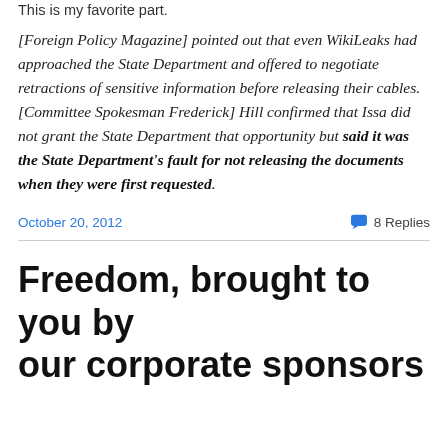This is my favorite part.
[Foreign Policy Magazine] pointed out that even WikiLeaks had approached the State Department and offered to negotiate retractions of sensitive information before releasing their cables. [Committee Spokesman Frederick] Hill confirmed that Issa did not grant the State Department that opportunity but said it was the State Department's fault for not releasing the documents when they were first requested.
October 20, 2012
8 Replies
Freedom, brought to you by our corporate sponsors